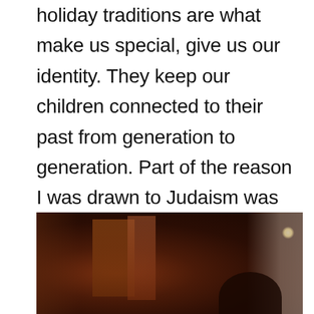holiday traditions are what make us special, give us our identity. They keep our children connected to their past from generation to generation. Part of the reason I was drawn to Judaism was this very emphasis on tradition. We say the Shabbat prayer and light the candles the same way our ancestors did thousands of years ago. It's part of what keeps us connected to our history, to the essence of who we are.
[Figure (photo): A vintage, darkly lit photograph showing candles or menorahs with glowing lights on the right side, dark silhouetted figures in the foreground, and a curtain visible on the right. The overall tone is warm brown and sepia.]